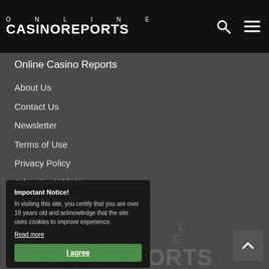[Figure (logo): Online Casino Reports logo - white text on black background with ONLINE in spaced capitals and CASINOREPORTS in large bold text]
Online Casino Reports
About Us
Contact Us
Newsletter
Terms of Use
Privacy Policy
Advertise With Us
Add Your Brand
Sitemap
Blog
Frequently Asked Questions
Responsible Gambling
International Sites
Important Notice!
In visiting this site, you certify that you are over 18 years old and acknowledge that the site uses cookies to improve experience.
Read more
[Figure (logo): Watermark Online Casino Reports logo at bottom of page in faded white]